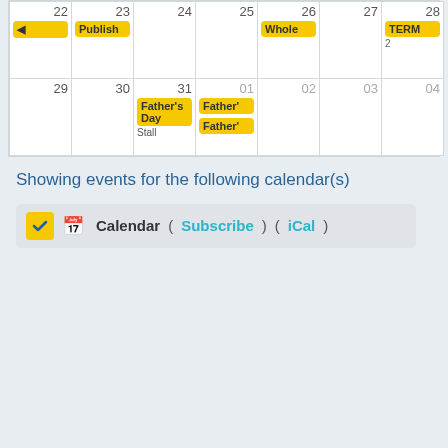[Figure (other): A school calendar showing two weeks. Week of 22-28: date 22 has a yellow back-arrow badge, date 23 has 'Publish' badge, date 26 has 'Whole' badge, date 28 has 'TERM' badge. Week of 29-04: date 31 has a yellow 'Father's Day Stall' event spanning to 01, date 01 has 'Father'' badge (x2).]
Showing events for the following calendar(s)
Calendar  ( Subscribe )  ( iCal )